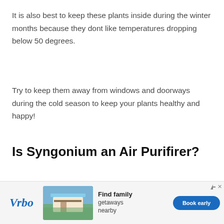It is also best to keep these plants inside during the winter months because they dont like temperatures dropping below 50 degrees.
Try to keep them away from windows and doorways during the cold season to keep your plants healthy and happy!
Is Syngonium an Air Purifirer?
Syngonium plants dont just look beautiful when you grow them but they are also very useful for the environment.
[Figure (other): Vrbo advertisement banner with logo, beach house image, and 'Find family getaways nearby' text with 'Book early' button]